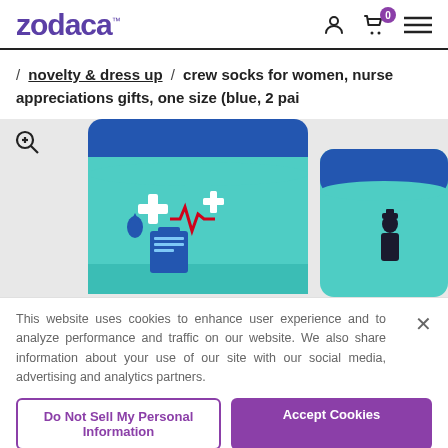zodaca™
/ novelty & dress up / crew socks for women, nurse appreciations gifts, one size (blue, 2 pai
[Figure (photo): Two turquoise/teal nurse-themed crew socks with blue cuffs, featuring nurse symbols (cross, heartbeat, clipboard). One sock faces forward, the other shows its back. Zoom icon in top-left corner.]
This website uses cookies to enhance user experience and to analyze performance and traffic on our website. We also share information about your use of our site with our social media, advertising and analytics partners.
Do Not Sell My Personal Information
Accept Cookies